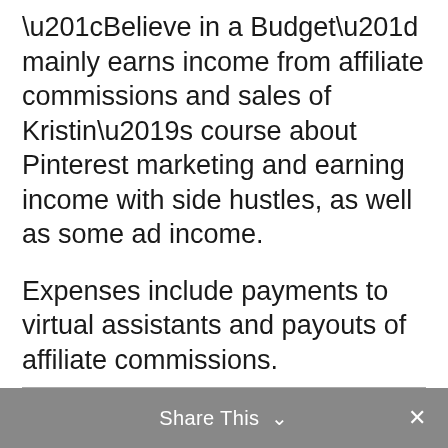“Believe in a Budget” mainly earns income from affiliate commissions and sales of Kristin’s course about Pinterest marketing and earning income with side hustles, as well as some ad income.
Expenses include payments to virtual assistants and payouts of affiliate commissions.
https://www.believeinabudget.com/2018-may-online-income-report/
Share This ∨ ×